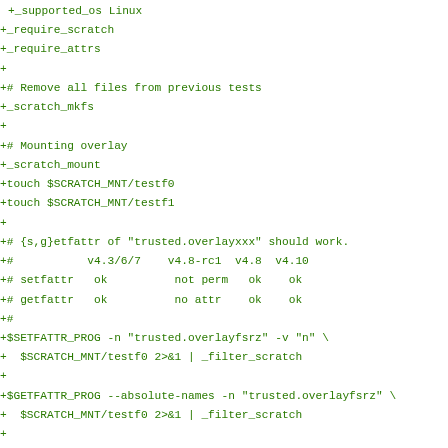+_supported_os Linux
+_require_scratch
+_require_attrs
+
+# Remove all files from previous tests
+_scratch_mkfs
+
+# Mounting overlay
+_scratch_mount
+touch $SCRATCH_MNT/testf0
+touch $SCRATCH_MNT/testf1
+
+# {s,g}etfattr of "trusted.overlayxxx" should work.
+#           v4.3/6/7    v4.8-rc1  v4.8  v4.10
+# setfattr   ok          not perm   ok    ok
+# getfattr   ok          no attr    ok    ok
+#
+$SETFATTR_PROG -n "trusted.overlayfsrz" -v "n" \
+  $SCRATCH_MNT/testf0 2>&1 | _filter_scratch
+
+$GETFATTR_PROG --absolute-names -n "trusted.overlayfsrz" \
+  $SCRATCH_MNT/testf0 2>&1 | _filter_scratch
+
+# {s,g}etfattr of "trusted.overlay.xxx" should fail.
+# The errno returned varies among kernel versions,
+#           v4.3/7    v4.8-rc1    v4.8         v4.10
+# setfattr  not perm  not perm   not perm   not supp
+# getfattr  no attr   no attr    not perm   not supp
+#
+# Consider "Operation not {supported,permitted}" pass.
+#
+$SETFATTR_PROG -n "trusted.overlay.fsz" -v "n" \